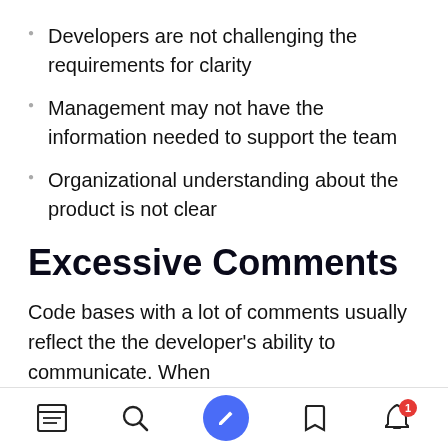Developers are not challenging the requirements for clarity
Management may not have the information needed to support the team
Organizational understanding about the product is not clear
Excessive Comments
Code bases with a lot of comments usually reflect the the developer's ability to communicate. When